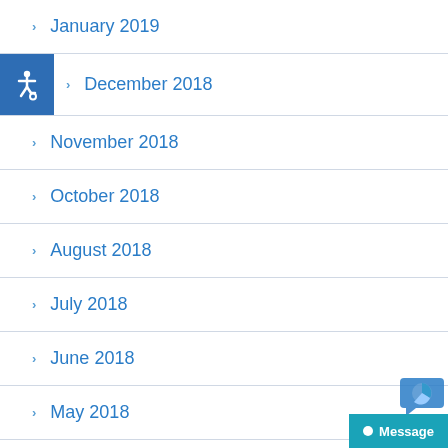January 2019
December 2018
November 2018
October 2018
August 2018
July 2018
June 2018
May 2018
April 2018